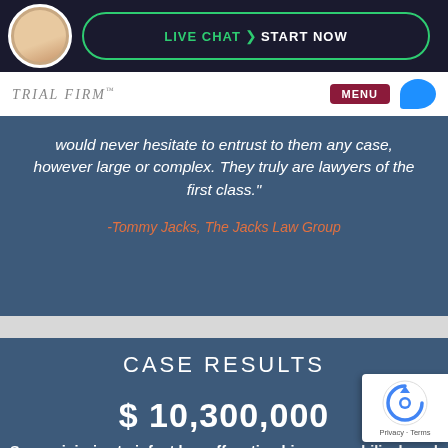LIVE CHAT  START NOW
TRIAL FIRM  MENU
would never hesitate to entrust to them any case, however large or complex. They truly are lawyers of the first class."
-Tommy Jacks, The Jacks Law Group
CASE RESULTS
$ 10,300,000
Severe injuries to infant by suffocating his own umbilical cord